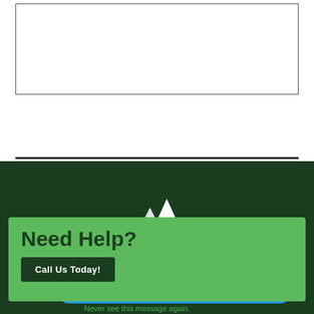[Figure (other): White rectangular box with border on white background, followed by a horizontal divider line]
[Figure (logo): White mountain peaks logo on dark green background]
Need Help?
Call Us Today!
powered by Calendly
Never see this message again.